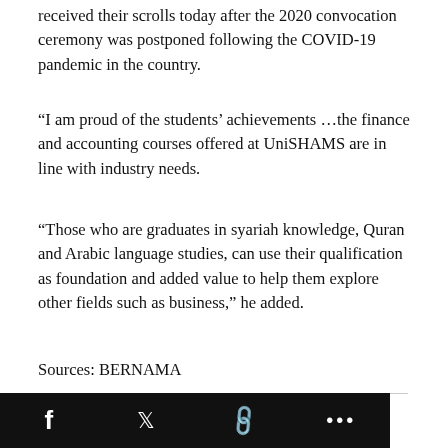received their scrolls today after the 2020 convocation ceremony was postponed following the COVID-19 pandemic in the country.
“I am proud of the students’ achievements …the finance and accounting courses offered at UniSHAMS are in line with industry needs.
“Those who are graduates in syariah knowledge, Quran and Arabic language studies, can use their qualification as foundation and added value to help them explore other fields such as business,” he added.
Sources: BERNAMA
Share this: